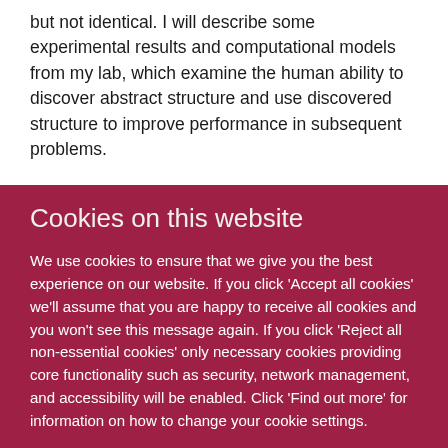but not identical. I will describe some experimental results and computational models from my lab, which examine the human ability to discover abstract structure and use discovered structure to improve performance in subsequent problems.
Cookies on this website
We use cookies to ensure that we give you the best experience on our website. If you click 'Accept all cookies' we'll assume that you are happy to receive all cookies and you won't see this message again. If you click 'Reject all non-essential cookies' only necessary cookies providing core functionality such as security, network management, and accessibility will be enabled. Click 'Find out more' for information on how to change your cookie settings.